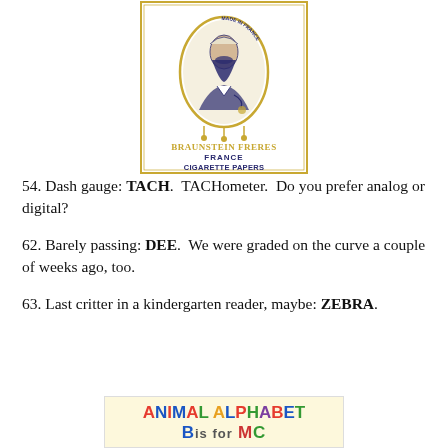[Figure (illustration): Braunstein Freres France cigarette papers logo — oval portrait of a bearded man, gold decorative border, text 'BRAUNSTEIN FRERES FRANCE CIGARETTE PAPERS' and 'MADE IN FRANCE']
54. Dash gauge: TACH.  TACHometer.  Do you prefer analog or digital?
62. Barely passing: DEE.  We were graded on the curve a couple of weeks ago, too.
63. Last critter in a kindergarten reader, maybe: ZEBRA.
[Figure (illustration): Animal Alphabet book cover — colorful text reading ANIMAL ALPHABET with B, M, C letters visible below on a cream/yellow background]